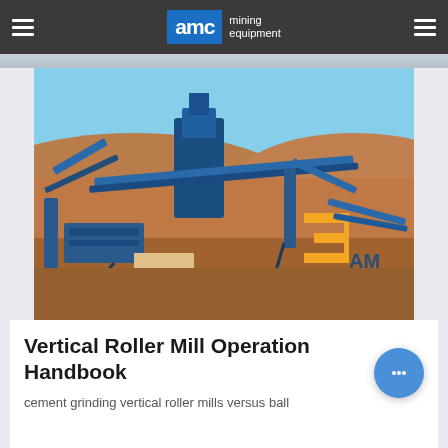AMC mining equipment
[Figure (photo): Aerial view of large blue and orange industrial mining conveyor equipment and processing machinery set against a dry, arid landscape with brown earth and clear blue sky. AMC branding visible on the machinery.]
Vertical Roller Mill Operation Handbook
cement grinding vertical roller mills versus ball